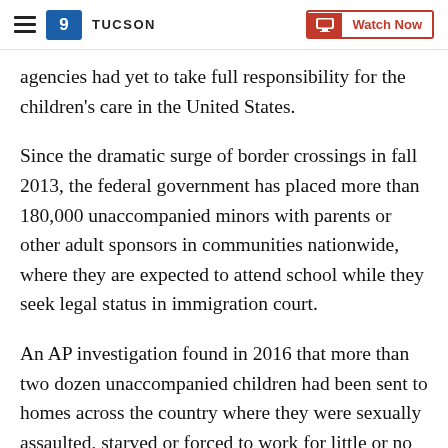KGUN 9 TUCSON | Watch Now
agencies had yet to take full responsibility for the children's care in the United States.
Since the dramatic surge of border crossings in fall 2013, the federal government has placed more than 180,000 unaccompanied minors with parents or other adult sponsors in communities nationwide, where they are expected to attend school while they seek legal status in immigration court.
An AP investigation found in 2016 that more than two dozen unaccompanied children had been sent to homes across the country where they were sexually assaulted, starved or forced to work for little or no pay. At the